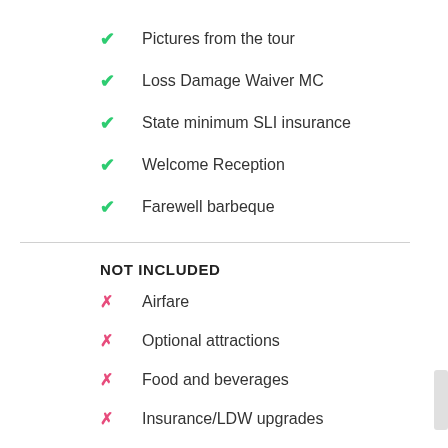✔ Pictures from the tour
✔ Loss Damage Waiver MC
✔ State minimum SLI insurance
✔ Welcome Reception
✔ Farewell barbeque
NOT INCLUDED
✗ Airfare
✗ Optional attractions
✗ Food and beverages
✗ Insurance/LDW upgrades